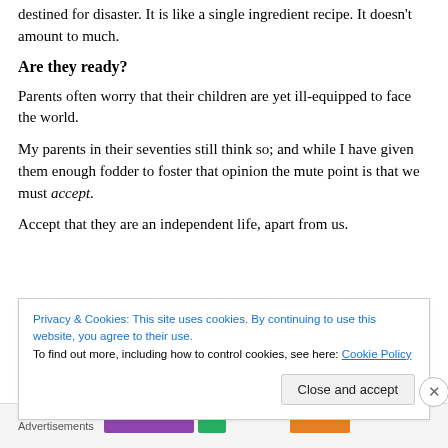destined for disaster. It is like a single ingredient recipe. It doesn't amount to much.
Are they ready?
Parents often worry that their children are yet ill-equipped to face the world.
My parents in their seventies still think so; and while I have given them enough fodder to foster that opinion the mute point is that we must accept.
Accept that they are an independent life, apart from us.
Privacy & Cookies: This site uses cookies. By continuing to use this website, you agree to their use.
To find out more, including how to control cookies, see here: Cookie Policy
Close and accept
Advertisements